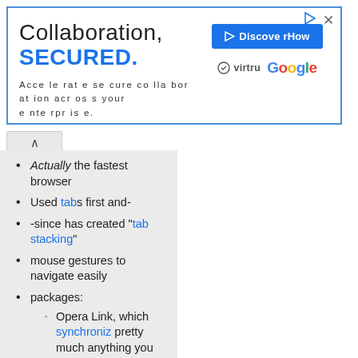[Figure (other): Advertisement banner: 'Collaboration, SECURED. Accelerate secure collaboration across your enterprise.' with Discover How button, Virtru and Google logos]
Actually the fastest browser
Used tabs first and-
-since has created "tab stacking"
mouse gestures to navigate easily
packages: Opera Link, which synchroniz pretty much anything you want; Opera Turbo, which uses a